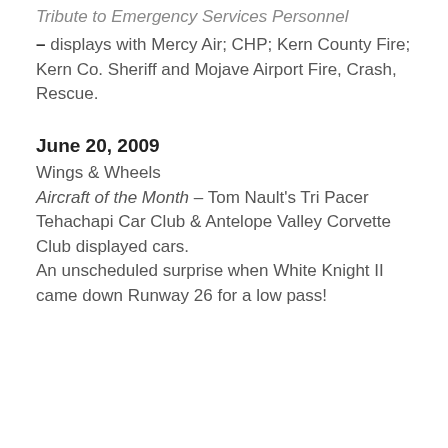Tribute to Emergency Services Personnel
– displays with Mercy Air; CHP; Kern County Fire; Kern Co. Sheriff and Mojave Airport Fire, Crash, Rescue.
June 20, 2009
Wings & Wheels
Aircraft of the Month – Tom Nault's Tri Pacer
Tehachapi Car Club & Antelope Valley Corvette Club displayed cars.
An unscheduled surprise when White Knight II came down Runway 26 for a low pass!